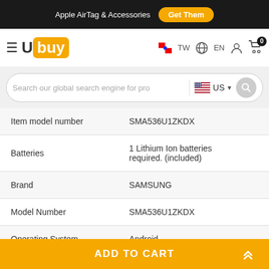Apple AirTag & Accessories  Get Them
[Figure (logo): Ubuy logo with hamburger menu, TW flag, EN language selector, account icon, and cart with badge 0]
[Figure (screenshot): Search bar with placeholder 'Search our global search engine for pro', US flag country selector, and search button]
| Attribute | Value |
| --- | --- |
| Item model number | SMA536U1ZKDX |
| Batteries | 1 Lithium Ion batteries required. (included) |
| Brand | SAMSUNG |
| Model Number | SMA536U1ZKDX |
| Operating System | Android |
ADD TO CART